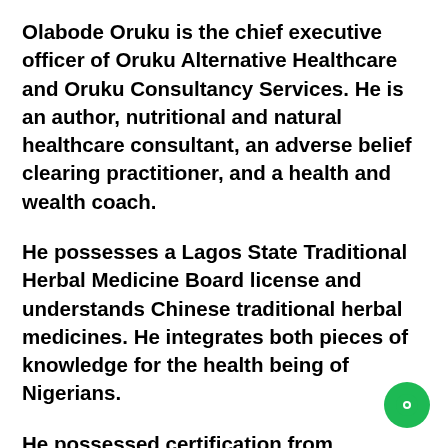Olabode Oruku is the chief executive officer of Oruku Alternative Healthcare and Oruku Consultancy Services. He is an author, nutritional and natural healthcare consultant, an adverse belief clearing practitioner, and a health and wealth coach.
He possesses a Lagos State Traditional Herbal Medicine Board license and understands Chinese traditional herbal medicines. He integrates both pieces of knowledge for the health being of Nigerians.
He possessed certification from Newskills Academy, located in the United Kingdom a Life Coach.